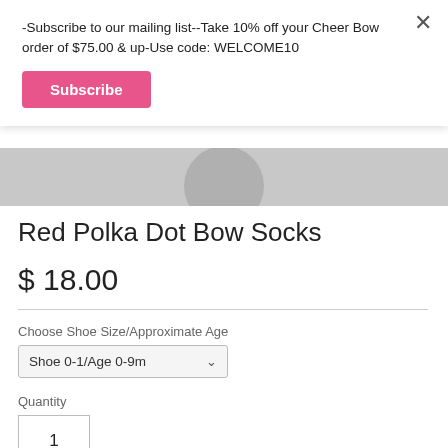[Figure (screenshot): Product image strip showing a partial gray circular object on gray background]
Red Polka Dot Bow Socks
$ 18.00
Choose Shoe Size/Approximate Age
Shoe 0-1/Age 0-9m
Quantity
1
Add to cart
-Subscribe to our mailing list--Take 10% off your Cheer Bow order of $75.00 & up-Use code: WELCOME10
Subscribe